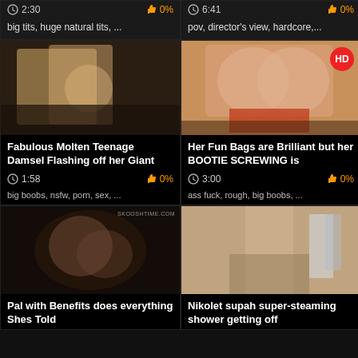[Figure (screenshot): Video thumbnail - dark, blurred adult content]
2:30  0%
big tits, huge natural tits, ...
[Figure (screenshot): Video thumbnail - dark adult content]
6:41  0%
pov, director's view, hardcore,...
[Figure (screenshot): Blonde woman in yellow top - adult content thumbnail]
Fabulous Molten Teenage Damsel Flashing off her Giant
1:58  0%
big boobs, nsfw, porn, sex, ...
[Figure (screenshot): Adult content thumbnail with HD badge]
Her Fun Bags are Brilliant but her BOOTIE SCREWING is
3:00  0%
ass fuck, rough, big boobs, ...
[Figure (screenshot): Adult content thumbnail with watermark skooshtime.com]
Pal with Benefits does everything Shes Told
[Figure (screenshot): Young woman in shower - adult content thumbnail]
Nikolet supah super-steaming shower getting off